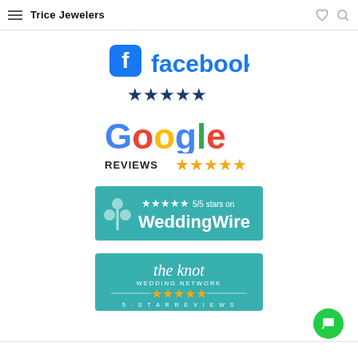Trice Jewelers
[Figure (logo): Facebook logo with 5 blue stars rating below]
[Figure (logo): Google Reviews logo with 5 orange stars]
[Figure (logo): WeddingWire badge: 5/5 stars on WeddingWire, teal background]
[Figure (logo): The Knot Wedding Network badge with 5-star reviews, teal background]